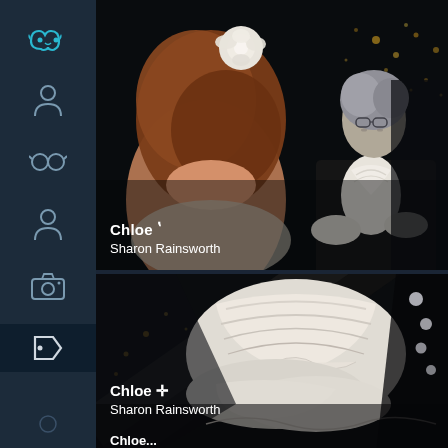[Figure (screenshot): Mobile app sidebar with navigation icons on a dark navy background. Icons include: a teal mask/face icon at top, person/user icon, glasses/search icon, another person icon, camera icon, tag/label icon (active, highlighted). The tag icon row has a slightly lighter dark background indicating active state.]
[Figure (photo): Top photo: Cosplay photo of two characters. A woman with red/auburn hair and a white rose hair accessory, wearing a white dress, facing away from camera. Facing her is a person in a black formal suit with white ruffled shirt and white gloves, with short silver/grey hair and glasses, in a dark outdoor night setting with city lights in background.]
Chloe ✛
Sharon Rainsworth
[Figure (photo): Bottom photo: Close-up cosplay photo showing white gloved hands and ruffled white garment details, with dark diagonal shapes (possibly a sword or cane) crossing the frame. Bokeh city lights visible in background.]
Chloe...